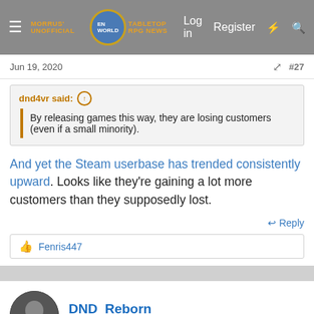Morrus' Unofficial Tabletop RPG News — Log in  Register
Jun 19, 2020  #27
dnd4vr said:
By releasing games this way, they are losing customers (even if a small minority).
And yet the Steam userbase has trended consistently upward. Looks like they're gaining a lot more customers than they supposedly lost.
Reply
Fenris447
DND_Reborn
Legend